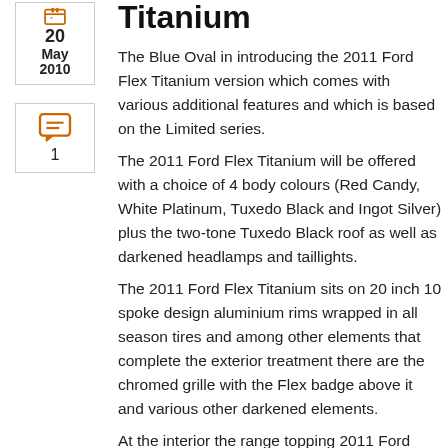Titanium
The Blue Oval in introducing the 2011 Ford Flex Titanium version which comes with various additional features and which is based on the Limited series.
The 2011 Ford Flex Titanium will be offered with a choice of 4 body colours (Red Candy, White Platinum, Tuxedo Black and Ingot Silver) plus the two-tone Tuxedo Black roof as well as darkened headlamps and taillights.
The 2011 Ford Flex Titanium sits on 20 inch 10 spoke design aluminium rims wrapped in all season tires and among other elements that complete the exterior treatment there are the chromed grille with the Flex badge above it and various other darkened elements.
At the interior the range topping 2011 Ford Flex...